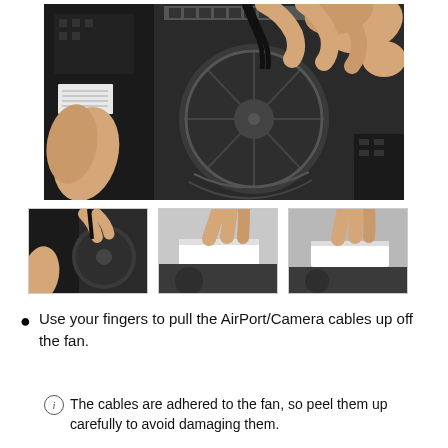[Figure (photo): Close-up photo of hands using fingers to pull black cables off a MacBook internal cooling fan. The laptop's logic board with fan, circuit components, and connectors are visible.]
[Figure (photo): Thumbnail 1: Hands working on MacBook fan area with cables, internal components visible.]
[Figure (photo): Thumbnail 2: Hands peeling adhesive cable off MacBook fan/component, white flat cable visible.]
[Figure (photo): Thumbnail 3: Hands peeling adhesive cable off MacBook fan/component, similar to thumbnail 2.]
Use your fingers to pull the AirPort/Camera cables up off the fan.
The cables are adhered to the fan, so peel them up carefully to avoid damaging them.